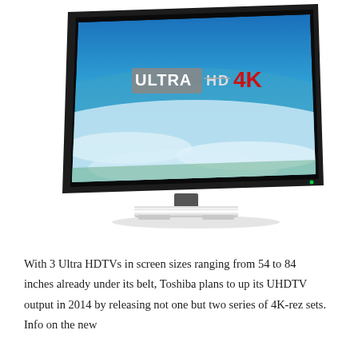[Figure (photo): A large flat-screen television displaying 'ULTRA HD 4K' branding on screen, showing an aerial view of clouds and blue sky. The TV has a thin black bezel and a silver/metallic stand at the bottom.]
With 3 Ultra HDTVs in screen sizes ranging from 54 to 84 inches already under its belt, Toshiba plans to up its UHDTV output in 2014 by releasing not one but two series of 4K-rez sets. Info on the new